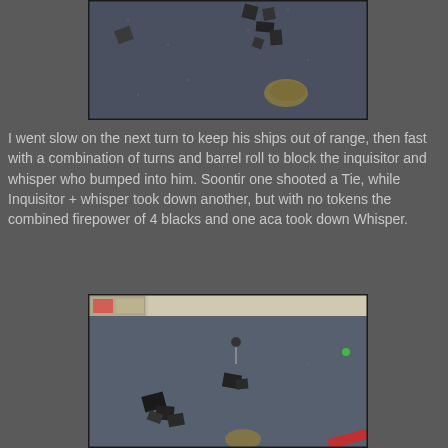[Figure (photo): Top-down view of a tabletop miniature game (X-Wing) showing small spaceship miniatures on a dark blue/grey game mat with asteroid tokens.]
I went slow on the next turn to keep his ships out of range, then fast with a combination of turns and barrel roll to block the inquisitor and whisper who bumped into him. Soontir one shooted a Tie, while Inquisitor + whisper took down another, but with no tokens the combined firepower of 4 blacks and one aca took down Whisper.
[Figure (photo): Angled view of a tabletop miniature game (X-Wing) showing spaceship miniatures on a blue/grey game mat with cards visible at the edge, taken from a higher angle.]